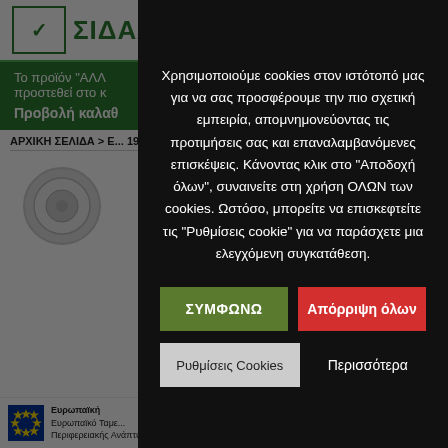[Figure (logo): ΣΙΔΑΛ Α.Ε. company logo with green checkmark in bordered box and Greek text brand name]
Το προϊόν "ΑΛΛ... προστεθεί στο κ...
Προβολή καλαθ...
ΑΡΧΙΚΗ ΣΕΛΙΔΑ > Ε... 19ΜΜ
[Figure (photo): Product photo - round white plastic/drain item]
Χρησιμοποιούμε cookies στον ιστότοπό μας για να σας προσφέρουμε την πιο σχετική εμπειρία, απομνημονεύοντας τις προτιμήσεις σας και επαναλαμβανόμενες επισκέψεις. Κάνοντας κλικ στο "Αποδοχή όλων", συναινείτε στη χρήση ΟΛΩΝ των cookies. Ωστόσο, μπορείτε να επισκεφτείτε τις "Ρυθμίσεις cookie" για να παράσχετε μια ελεγχόμενη συγκατάθεση.
ΣΥΜΦΩΝΩ
Απόρριψη όλων
Ρυθμίσεις Cookies
Περισσότερα
Ευρωπαϊκή ... Ευρωπαϊκό Ταμε... Περιφερειακής Ανάπτυξης